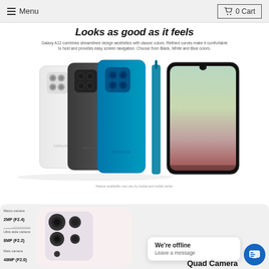Menu   0 Cart
Looks as good as it feels
Galaxy A12 combines streamlined design aesthetics with classic colors. Refined curves make it comfortable to hold and provides easy screen navigation. Choose from Black, White and Blue colors.
[Figure (photo): Samsung Galaxy A12 smartphones shown in three colors (white, black, blue) from back view, plus side profile and front screen view showing colorful wallpaper]
Feature availability may vary by market and mobile carrier.
[Figure (photo): Close-up of Samsung Galaxy A12 quad camera array with spec callouts for Macro camera 2MP (F2.4), Ultra wide camera 8MP (F2.2), Main camera 48MP (F2.0)]
We're offline
Leave a message
Quad Camera